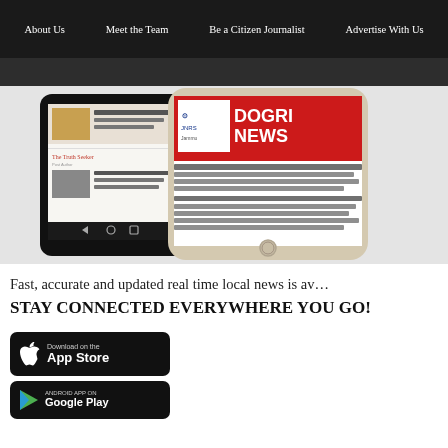About Us | Meet the Team | Be a Citizen Journalist | Advertise With Us
[Figure (screenshot): Two smartphone mockups showing the Jammu Links News app — an Android phone on the left showing news articles, and an iPhone on the right showing a Dogri News branded app with news content in Dogri script.]
Fast, accurate and updated real time local news is av...
STAY CONNECTED EVERYWHERE YOU GO!
[Figure (screenshot): Download on the App Store button (black)]
[Figure (screenshot): Get it on Google Play button (black, partially visible)]